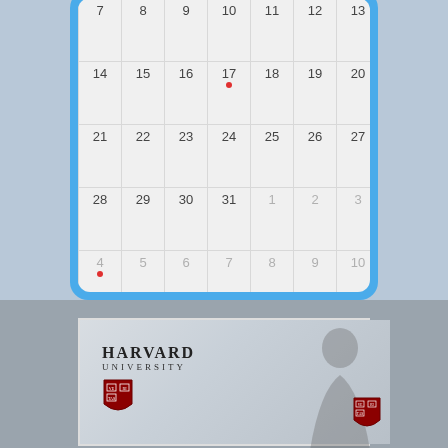[Figure (screenshot): Calendar app screenshot showing a month view with dates 7-31 visible plus overflow rows. Date 17 has a red dot marker. Date 4 in the following month (greyed) also has a red dot. The calendar UI has a blue rounded rectangle border with a light grey inner grid.]
[Figure (screenshot): Harvard University branding/thumbnail image showing the Harvard University wordmark with shield logo on a light grey blurred background with a person silhouette. A second smaller shield appears in the bottom right corner.]